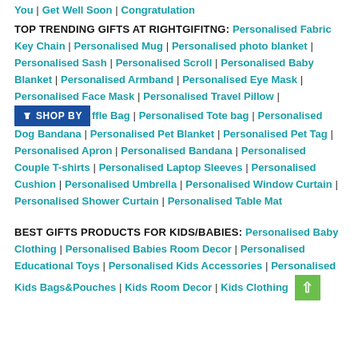You | Get Well Soon | Congratulation
TOP TRENDING GIFTS AT RIGHTGIFITNG: Personalised Fabric Key Chain | Personalised Mug | Personalised photo blanket | Personalised Sash | Personalised Scroll | Personalised Baby Blanket | Personalised Armband | Personalised Eye Mask | Personalised Face Mask | Personalised Travel Pillow | [SHOP BY] ffle Bag | Personalised Tote bag | Personalised Dog Bandana | Personalised Pet Blanket | Personalised Pet Tag | Personalised Apron | Personalised Bandana | Personalised Couple T-shirts | Personalised Laptop Sleeves | Personalised Cushion | Personalised Umbrella | Personalised Window Curtain | Personalised Shower Curtain | Personalised Table Mat
BEST GIFTS PRODUCTS FOR KIDS/BABIES: Personalised Baby Clothing | Personalised Babies Room Decor | Personalised Educational Toys | Personalised Kids Accessories | Personalised Kids Bags&Pouches | Kids Room Decor | Kids Clothing